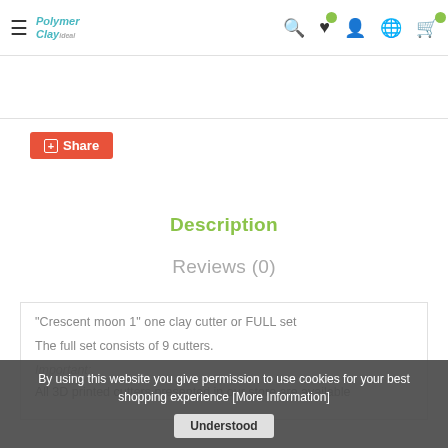Polymer Clay [logo] | Search | Wishlist | Account | Language | Cart
[Figure (screenshot): Share button (orange) with plus icon and 'Share' text]
Description
Reviews (0)
"Crescent moon 1" one clay cutter or FULL set
The full set consists of 9 cutters.
Important:
All 3D printed cutters presented in our store are available
By using this website you give permission to use cookies for your best shopping experience [More Information]
Understood